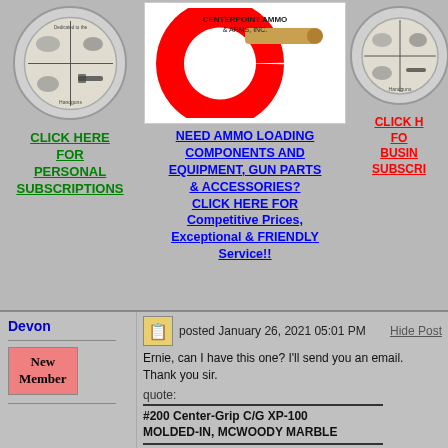[Figure (logo): Circular logo with shooter silhouette and animals, text 'Dedicated to the Further Development of Handguns']
CLICK HERE FOR PERSONAL SUBSCRIPTIONS
[Figure (logo): CenterPoint Ammo logo - large red C with bullet, text 'CENTERPOINT AMMO & ARMS, INC.']
NEED AMMO LOADING COMPONENTS AND EQUIPMENT, GUN PARTS & ACCESSORIES? CLICK HERE FOR Competitive Prices, Exceptional & FRIENDLY Service!!
[Figure (logo): Circular logo with shooter silhouette and animals - partial view]
CLICK HERE FOR BUSINESS SUBSCRIPTIONS
Devon
New Member
posted January 26, 2021 05:01 PM
Hide Post
Ernie, can I have this one? I'll send you an email. Thank you sir.
quote:
#200 Center-Grip C/G XP-100 MOLDED-IN, MCWOODY MARBLE